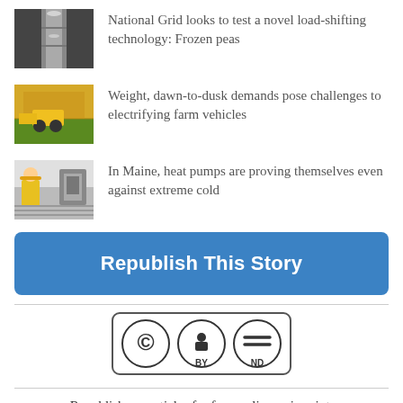National Grid looks to test a novel load-shifting technology: Frozen peas
Weight, dawn-to-dusk demands pose challenges to electrifying farm vehicles
In Maine, heat pumps are proving themselves even against extreme cold
[Figure (other): Blue rounded-rectangle button labeled 'Republish This Story']
[Figure (logo): Creative Commons CC BY ND license badge]
Republish our articles for free, online or in print, under a Creative Commons license.